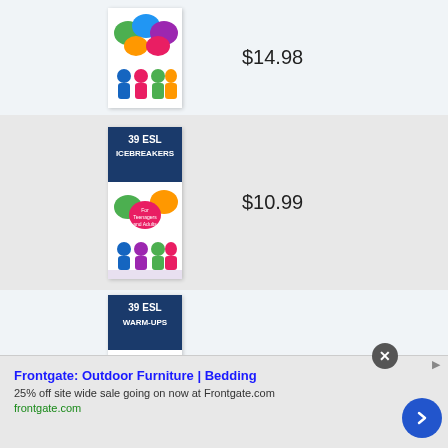[Figure (illustration): Book cover partially visible at top: colorful speech bubbles and people silhouettes, ESL book]
$14.98
[Figure (illustration): Book cover: 39 ESL Icebreakers for Teenagers and Adults, with colorful speech bubbles and people silhouettes]
$10.99
[Figure (illustration): Book cover: 39 ESL Warm-Ups for Teenagers and Adults, with colorful speech bubbles and people silhouettes]
$11.99
Frontgate: Outdoor Furniture | Bedding
25% off site wide sale going on now at Frontgate.com
frontgate.com